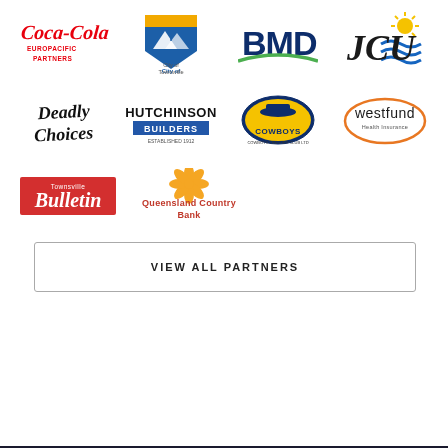[Figure (logo): Coca-Cola Europacific Partners logo - red script Coca-Cola text with EUROPACIFIC PARTNERS below]
[Figure (logo): City of Townsville logo - blue/gold shield with palm tree]
[Figure (logo): BMD logo - navy blue BMD text with green swoosh]
[Figure (logo): JCU (James Cook University) logo - black JCU text with sun and waves]
[Figure (logo): Deadly Choices logo - black script text]
[Figure (logo): Hutchinson Builders logo - black bold text with blue bar]
[Figure (logo): Cowboys - Cowboys Leagues Club Ltd logo - navy and gold]
[Figure (logo): Westfund Health Insurance logo - orange circle with westfund text]
[Figure (logo): Townsville Bulletin logo - red rectangle with white Bulletin text]
[Figure (logo): Queensland Country Bank logo - gold flower with red/orange text]
VIEW ALL PARTNERS